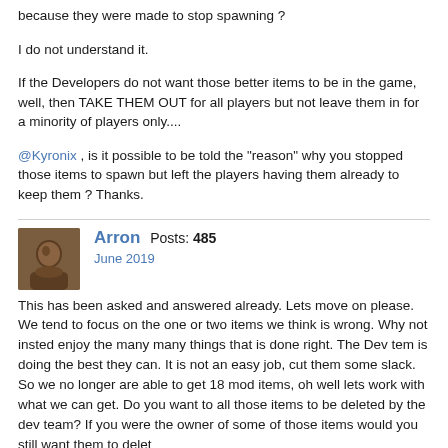because they were made to stop spawning ?
I do not understand it.
If the Developers do not want those better items to be in the game, well, then TAKE THEM OUT for all players but not leave them in for a minority of players only....
@Kyronix , is it possible to be told the "reason" why you stopped those items to spawn but left the players having them already to keep them ? Thanks.
Arron  Posts: 485
June 2019
This has been asked and answered already. Lets move on please. We tend to focus on the one or two items we think is wrong. Why not insted enjoy the many many things that is done right. The Dev tem is doing the best they can. It is not an easy job, cut them some slack.  So we no longer are able to get 18 mod items, oh well lets work with what we can get. Do you want to all those items to be deleted by the dev team? If you were the owner of some of those items would you still want them to delet